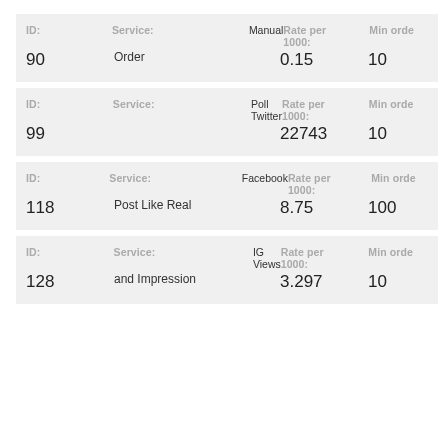| ID: | Service: |  | Rate per 1000: | Min order |
| --- | --- | --- | --- | --- |
| 90 | Manual Order |  | 0.15 | 10 |
| 99 | Poll Twitter |  | 22743 | 10 |
| 118 | Facebook Post Like Real |  | 8.75 | 100 |
| 128 | IG Views and Impression |  | 3.297 | 10 |